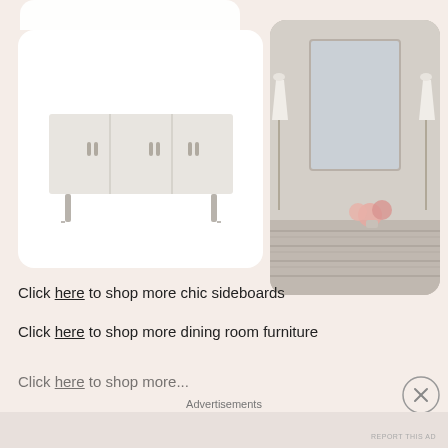[Figure (photo): White sideboard/buffet with metal handles and tapered legs on white background]
[Figure (photo): Bedroom dresser scene with mirror, two lamps and pink flowers on a textured dresser]
Click here to shop more chic sideboards
Click here to shop more dining room furniture
Click here to shop more...
Advertisements